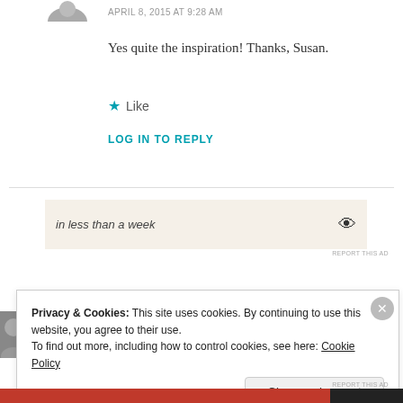[Figure (photo): Partial avatar/profile photo at top left corner, cropped circle]
APRIL 8, 2015 AT 9:28 AM
Yes quite the inspiration! Thanks, Susan.
★ Like
LOG IN TO REPLY
[Figure (other): Advertisement banner with text 'in less than a week' on beige background with eye icon]
REPORT THIS AD
Privacy & Cookies: This site uses cookies. By continuing to use this website, you agree to their use.
To find out more, including how to control cookies, see here: Cookie Policy
Close and accept